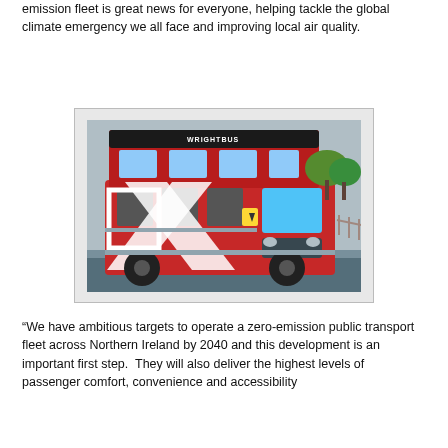emission fleet is great news for everyone, helping tackle the global climate emergency we all face and improving local air quality.
[Figure (photo): A red double-decker electric bus (Wrightbus) photographed from a low angle, showing bold red and white geometric design with 'WRIGHTBUS' branding on the upper deck and a yellow hazard symbol on the side.]
“We have ambitious targets to operate a zero-emission public transport fleet across Northern Ireland by 2040 and this development is an important first step.  They will also deliver the highest levels of passenger comfort, convenience and accessibility